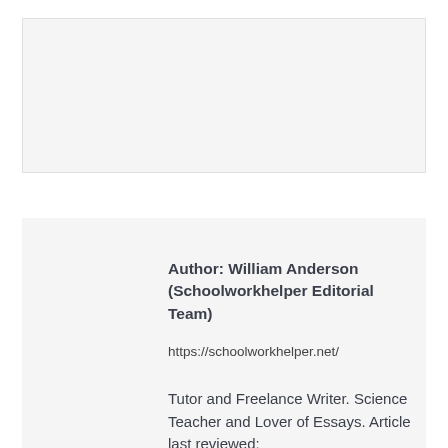[Figure (other): Light gray rectangular image placeholder box at top of page]
Author: William Anderson (Schoolworkhelper Editorial Team)
https://schoolworkhelper.net/
Tutor and Freelance Writer. Science Teacher and Lover of Essays. Article last reviewed: